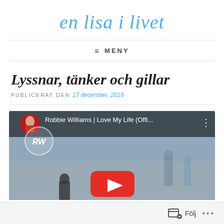en lisa i livet
≡ MENY
Lyssnar, tänker och gillar
PUBLICERAT DEN 17 december, 2016
[Figure (screenshot): YouTube video thumbnail showing Robbie Williams | Love My Life (Offi... with a circular avatar of Robbie Williams on the left, options icon on the right, and a red YouTube play button at the bottom center. Background shows a moody outdoor scene.]
Följ ...